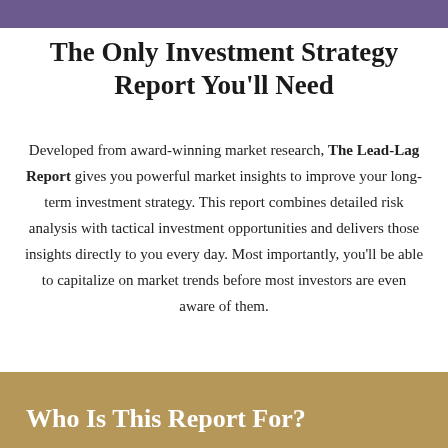The Only Investment Strategy Report You'll Need
Developed from award-winning market research, The Lead-Lag Report gives you powerful market insights to improve your long-term investment strategy. This report combines detailed risk analysis with tactical investment opportunities and delivers those insights directly to you every day. Most importantly, you'll be able to capitalize on market trends before most investors are even aware of them.
Who Is This Report For?